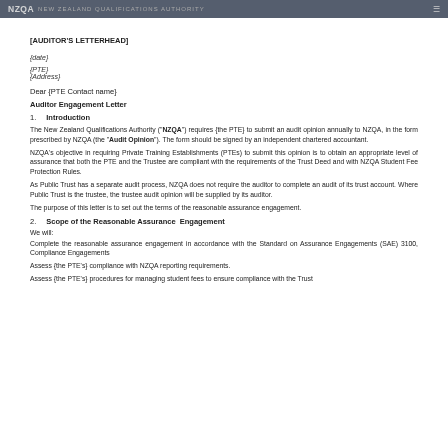NZQA [header bar]
[AUDITOR'S LETTERHEAD]
{date}
{PTE}
{Address}
Dear {PTE Contact name}
Auditor Engagement Letter
1.    Introduction
The New Zealand Qualifications Authority ("NZQA") requires {the PTE} to submit an audit opinion annually to NZQA, in the form prescribed by NZQA (the "Audit Opinion"). The form should be signed by an independent chartered accountant.
NZQA's objective in requiring Private Training Establishments (PTEs) to submit this opinion is to obtain an appropriate level of assurance that both the PTE and the Trustee are compliant with the requirements of the Trust Deed and with NZQA Student Fee Protection Rules.
As Public Trust has a separate audit process, NZQA does not require the auditor to complete an audit of its trust account. Where Public Trust is the trustee, the trustee audit opinion will be supplied by its auditor.
The purpose of this letter is to set out the terms of the reasonable assurance engagement.
2.    Scope of the Reasonable Assurance  Engagement
We will:
Complete the reasonable assurance engagement in accordance with the Standard on Assurance Engagements (SAE) 3100, Compliance Engagements
Assess {the PTE's} compliance with NZQA reporting requirements.
Assess {the PTE's} procedures for managing student fees to ensure compliance with the Trust